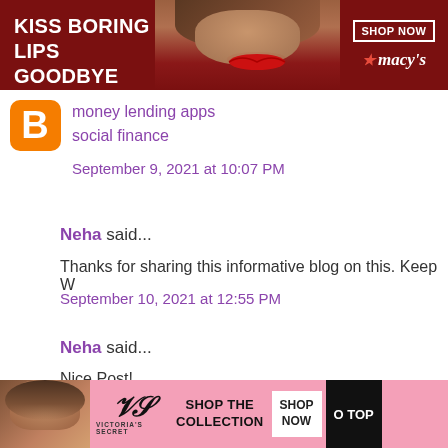[Figure (photo): Macy's advertisement banner with red background, woman with red lips, text 'KISS BORING LIPS GOODBYE', 'SHOP NOW' button, and Macy's star logo]
money lending apps
social finance
September 9, 2021 at 10:07 PM
Neha said...
Thanks for sharing this informative blog on this. Keep W
September 10, 2021 at 12:55 PM
Neha said...
Nice Post!
September 10, 2021 at 2:01 PM
[Figure (photo): Victoria's Secret advertisement banner with pink background, woman's photo, VS logo, 'SHOP THE COLLECTION' text, 'SHOP NOW' button, 'CLOSE' button, 'O TOP' button]